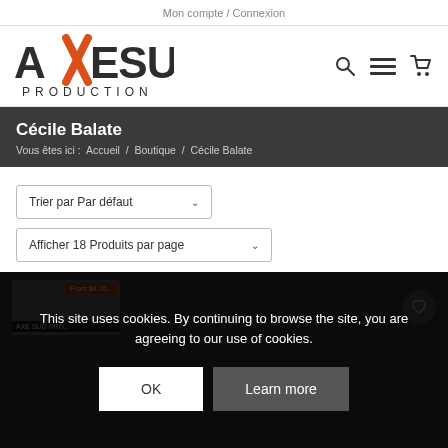Mon compte / Connexion
[Figure (logo): AXESUD PRODUCTION logo with orange diagonal slash through the X]
Cécile Balate
Vous êtes ici :  Accueil  /  Boutique  /  Cécile Balate
Trier par Par défaut
Afficher 18 Produits par page
This site uses cookies. By continuing to browse the site, you are agreeing to our use of cookies.
OK
Learn more